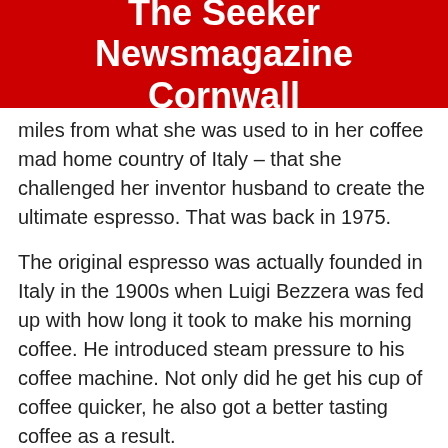The Seeker Newsmagazine Cornwall
miles from what she was used to in her coffee mad home country of Italy – that she challenged her inventor husband to create the ultimate espresso. That was back in 1975.
The original espresso was actually founded in Italy in the 1900s when Luigi Bezzera was fed up with how long it took to make his morning coffee. He introduced steam pressure to his coffee machine. Not only did he get his cup of coffee quicker, he also got a better tasting coffee as a result.
Italian businessman Desidero Pavoni then took Luigi Bezzera's creation and launched it to the Italian public – completely changing the way everyone drank coffee around the world, not just in Italy. That is where the